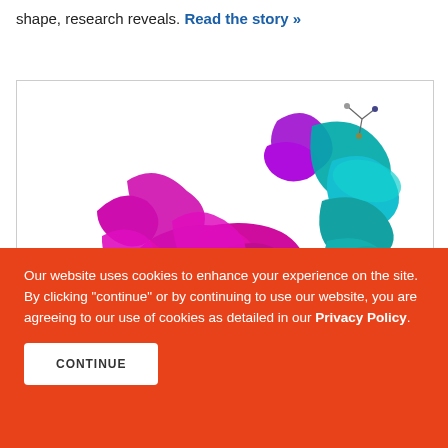shape, research reveals. Read the story »
[Figure (illustration): 3D molecular ribbon diagram of a protein complex showing multiple colored helical subunits (magenta, cyan, yellow-green, pink, and gray) with small molecule ligands depicted as spheres and stick models.]
Our website uses cookies to enhance your experience on the site. By clicking "continue" or by continuing to use our website, you are agreeing to our use of cookies as detailed in our Privacy Policy.
CONTINUE